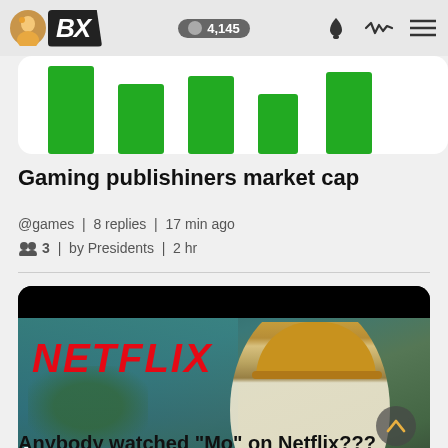BX | 4,145
[Figure (bar-chart): Bar chart showing gaming publishers market cap with green bars]
Gaming publishiners market cap
@games | 8 replies | 17 min ago
3 | by Presidents | 2 hr
[Figure (photo): Netflix show thumbnail showing a man in yellow cap and white shirt with NETFLIX logo and OFFICIAL text overlay]
Anybody watched "Mo" on Netflix???